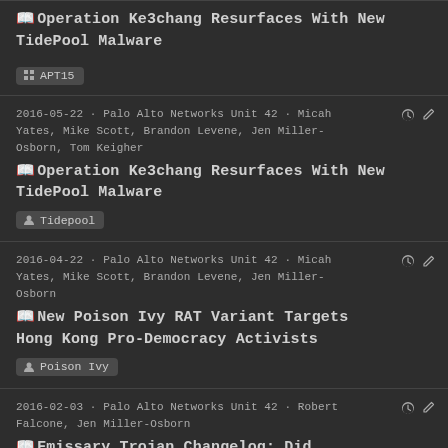Operation Ke3chang Resurfaces With New TidePool Malware
APT15
2016-05-22 · Palo Alto Networks Unit 42 · Micah Yates, Mike Scott, Brandon Levene, Jen Miller-Osborn, Tom Keigher
Operation Ke3chang Resurfaces With New TidePool Malware
Tidepool
2016-04-22 · Palo Alto Networks Unit 42 · Micah Yates, Mike Scott, Brandon Levene, Jen Miller-Osborn
New Poison Ivy RAT Variant Targets Hong Kong Pro-Democracy Activists
Poison Ivy
2016-02-03 · Palo Alto Networks Unit 42 · Robert Falcone, Jen Miller-Osborn
Emissary Trojan Changelog: Did